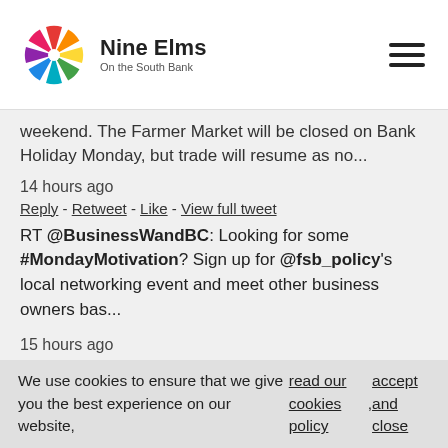Nine Elms On the South Bank
weekend. The Farmer Market will be closed on Bank Holiday Monday, but trade will resume as no…
14 hours ago
Reply - Retweet - Like - View full tweet
RT @BusinessWandBC: Looking for some #MondayMotivation? Sign up for @fsb_policy's local networking event and meet other business owners bas…
15 hours ago
Reply - Retweet - Like - View full tweet
RT @wandbc: This week our #GetConnected hubs will be focusing on the theme of 'Housing & Finance (V...
We use cookies to ensure that we give you the best experience on our website, read our cookies policy, accept and close